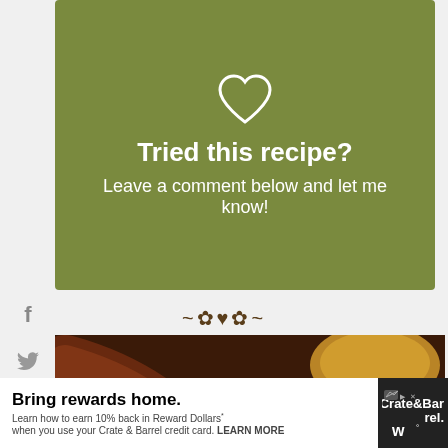[Figure (illustration): Green olive-colored recipe card with white heart outline icon, bold white text 'Tried this recipe?' and subtitle 'Leave a comment below and let me know!']
~✿♥✿~
[Figure (photo): Close-up photo of glazed sesame-coated ribs with a bowl of dipping sauce in upper right corner, shot on a metal surface]
[Figure (other): Advertisement banner: 'Bring rewards home.' Crate&Barrel. 'Learn how to earn 10% back in Reward Dollars* when you use your Crate & Barrel credit card. LEARN MORE']